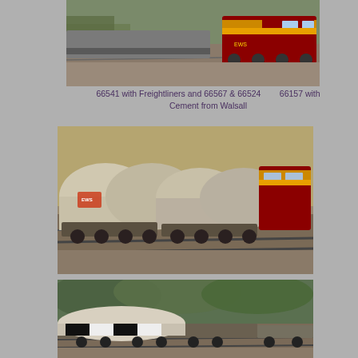[Figure (photo): Freight train locomotive (maroon/yellow, Class 66) pulling wagons on railway tracks, viewed from elevated angle. Locomotive numbered in the 66500s series.]
66541 with Freightliners and 66567 & 66524        66157 with Cement from Walsall
[Figure (photo): Freight train with large white cylindrical cement tanker wagons being pulled by a maroon/yellow Class 66 locomotive on railway tracks.]
[Figure (photo): Freight train with flatbed wagons carrying large cylindrical load on railway tracks, surrounded by green trees and vegetation.]